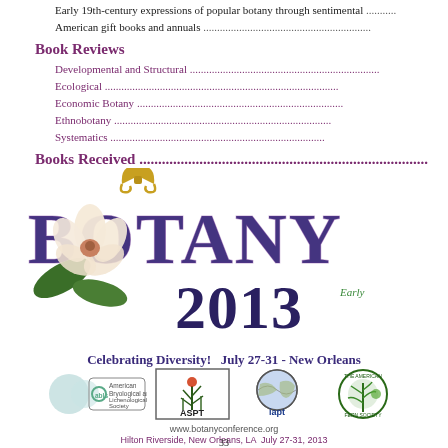Early 19th-century expressions of popular botany through sentimental American gift books and annuals ...
Book Reviews
Developmental and Structural ...
Ecological ...
Economic Botany ...
Ethnobotany ...
Systematics ...
Books Received ...
[Figure (illustration): Botany 2013 conference logo with magnolia flower and fleur-de-lis, 'Celebrating Diversity! July 27-31 - New Orleans', with logos of ABLS, ASPT, iapt, and The American Fern Society, website www.botanyconference.org, Hilton Riverside, New Orleans, LA July 27-31, 2013]
33